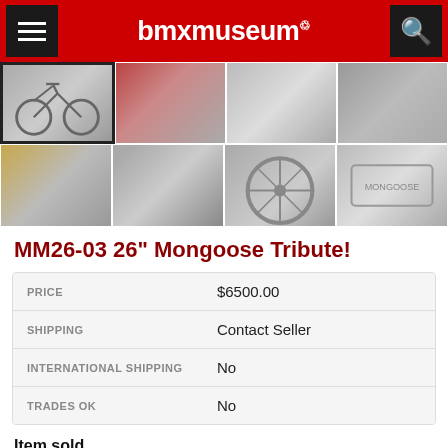bmxmuseum
[Figure (photo): Grid of 8 thumbnail photos showing a BMX bike and its components (full bike, red parts, handlebars, side view, stem/clamp, tube/frame detail, wheel, Mongoose logo)]
MM26-03 26" Mongoose Tribute!
| Field | Value |
| --- | --- |
| PRICE | $6500.00 |
| SHIPPING | Contact Seller |
| INTERNATIONAL SHIPPING | No |
| TRADES OK | No |
Item sold
| Field | Value |
| --- | --- |
| SOLD | 2017-10-16 4:11pm |
| POSTED |  |